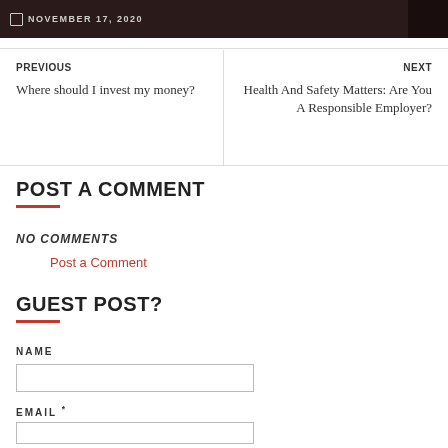[Figure (photo): Dark header image with date overlay showing November 17, 2020]
NOVEMBER 17, 2020
PREVIOUS
Where should I invest my money?
NEXT
Health And Safety Matters: Are You A Responsible Employer?
POST A COMMENT
NO COMMENTS
Post a Comment
GUEST POST?
NAME
EMAIL *